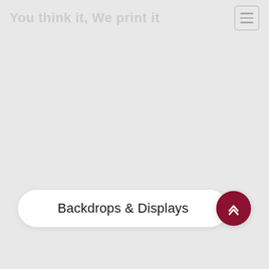You think it, We print it
Backdrops & Displays